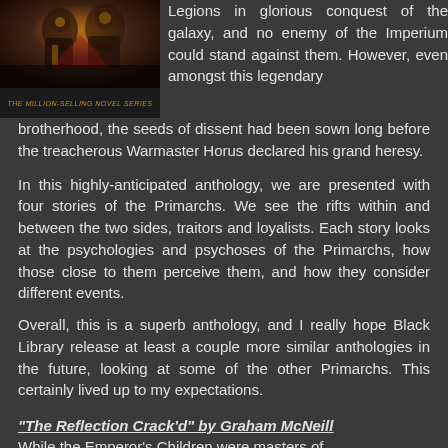[Figure (photo): Book cover image showing a dark fantasy battle scene with armored warriors, with a banner below reading 'The Million-Selling Novel Series']
Legions in glorious conquest of the galaxy, and no enemy of the Imperium could stand against them. However, even amongst this legendary brotherhood, the seeds of dissent had been sown long before the treacherous Warmaster Horus declared his grand heresy.
In this highly-anticipated anthology, we are presented with four stories of the Primarchs. We see the rifts within and between the two sides, traitors and loyalists. Each story looks at the psychologies and psychoses of the Primarchs, how those close to them perceive them, and how they consider different events.
Overall, this is a superb anthology, and I really hope Black Library release at least a couple more similar anthologies in the future, looking at some of the other Primarchs. This certainly lived up to my expectations.
“The Reflection Crack’d” by Graham McNeill
While the Emperor’s Children were masters of...